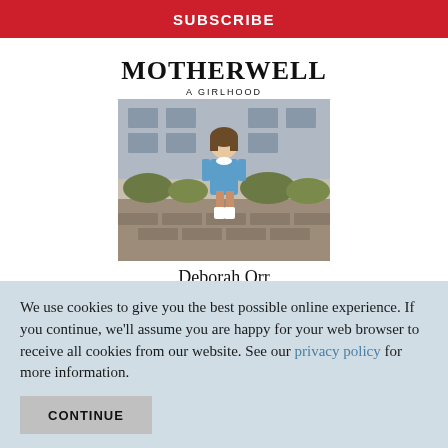SUBSCRIBE
[Figure (illustration): Book cover for 'Motherwell: A Girlhood' by Deborah Orr. Shows a young girl in a blue dress standing in front of a building. Title in bold black text at top, subtitle 'A Girlhood' below, author name 'Deborah Orr' at bottom.]
We use cookies to give you the best possible online experience. If you continue, we'll assume you are happy for your web browser to receive all cookies from our website. See our privacy policy for more information.
CONTINUE